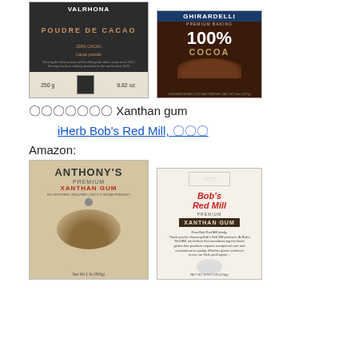[Figure (photo): Valrhona Poudre de Cacao 100% Cacao cocoa powder, 250g / 8.82 oz package]
[Figure (photo): Ghirardelli Premium Baking 100% Cocoa unsweetened cocoa powder package]
〇〇〇〇〇〇〇 Xanthan gum
iHerb Bob's Red Mill, 〇〇〇
Amazon:
[Figure (photo): Anthony's Premium Xanthan Gum, Gluten Free, Non-GMO, Keto & Vegan Friendly, Net wt 1 lb (454g)]
[Figure (photo): Bob's Red Mill Premium Xanthan Gum package]